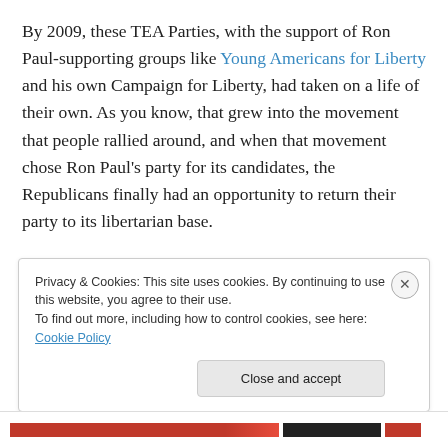By 2009, these TEA Parties, with the support of Ron Paul-supporting groups like Young Americans for Liberty and his own Campaign for Liberty, had taken on a life of their own. As you know, that grew into the movement that people rallied around, and when that movement chose Ron Paul's party for its candidates, the Republicans finally had an opportunity to return their party to its libertarian base.
They started as a fight against Democratic talk of raising taxes, fighting bailouts and “stimulus” spending, but got
Privacy & Cookies: This site uses cookies. By continuing to use this website, you agree to their use.
To find out more, including how to control cookies, see here: Cookie Policy
Close and accept